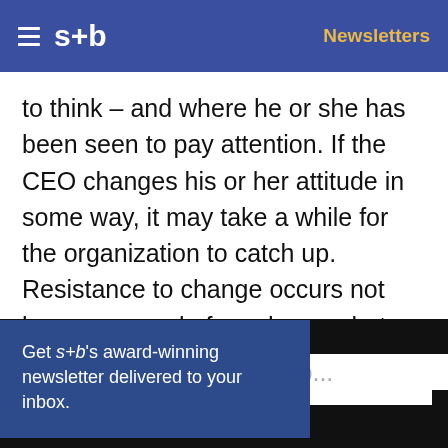s+b | Newsletters
to think – and where he or she has been seen to pay attention. If the CEO changes his or her attitude in some way, it may take a while for the organization to catch up. Resistance to change occurs not because people fear change, but because they fear the consequences of contradicting the perceived
Get s+b's award-winning newsletter delivered to your inbox.
We use cookies to personalize content and to provide you with an improved user experience. By continuing to browse this site you consent to the use of cookies. Please visit our cookie policy for further details.